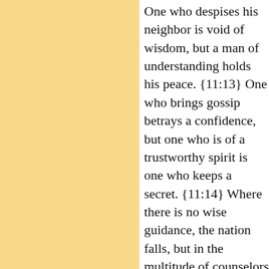One who despises his neighbor is void of wisdom, but a man of understanding holds his peace. {11:13} One who brings gossip betrays a confidence, but one who is of a trustworthy spirit is one who keeps a secret. {11:14} Where there is no wise guidance, the nation falls, but in the multitude of counselors there is victory. {11:15} He who is collateral for a stranger will suffer for it, but he who refuses pledges of collateral is secure. {11:16} A gracious woman obtains honor, but violent men obtain riches. {11:17} The merciful man does good to his own soul, but he who is cruel troubles his own flesh. {11:18} Wicked people earn deceitful wages, but one who sows righteousness reaps a sure reward. {11:19} He who is truly righteous gets life. He who pursues evil gets death. {11:20} Those who are perverse in heart are an